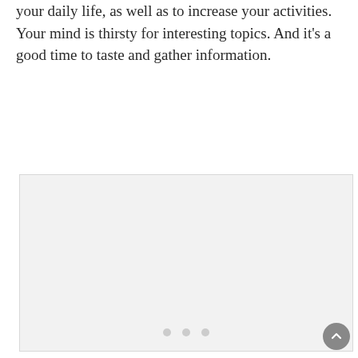your daily life, as well as to increase your activities. Your mind is thirsty for interesting topics. And it's a good time to taste and gather information.
[Figure (photo): A large light gray placeholder image box occupying the lower half of the page, with three pagination dots at the bottom center and a circular scroll-to-top button at the bottom right.]